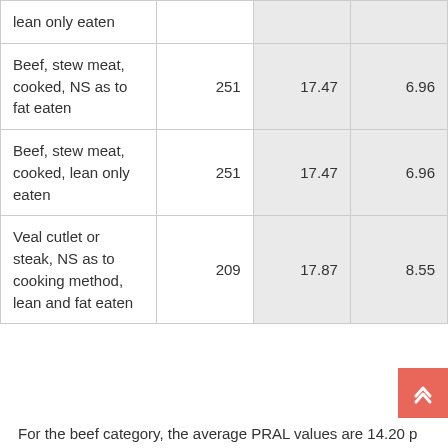| lean only eaten |  |  |  |
| Beef, stew meat, cooked, NS as to fat eaten | 251 | 17.47 | 6.96 |
| Beef, stew meat, cooked, lean only eaten | 251 | 17.47 | 6.96 |
| Veal cutlet or steak, NS as to cooking method, lean and fat eaten | 209 | 17.87 | 8.55 |
For the beef category, the average PRAL values are 14.20 p...